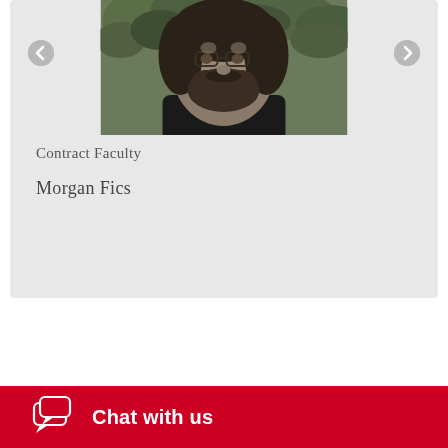[Figure (photo): Black and white headshot photo of Morgan Fics, a bearded person wearing glasses, outdoors with foliage in background]
Contract Faculty
Morgan Fics
Edit
Chat with us